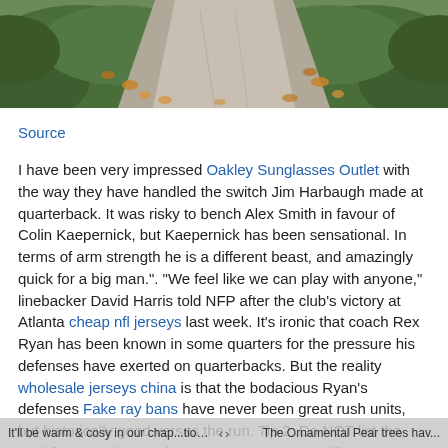[Figure (photo): Outdoor path or walkway lined with green shrubs/hedges and autumn leaves scattered on the ground, viewed from above at an angle.]
Source
I have been very impressed Oakley Sunglasses Outlet with the way they have handled the switch Jim Harbaugh made at quarterback. It was risky to bench Alex Smith in favour of Colin Kaepernick, but Kaepernick has been sensational. In terms of arm strength he is a different beast, and amazingly quick for a big man.". "We feel like we can play with anyone," linebacker David Harris told NFP after the club's victory at Atlanta cheap nfl jerseys last week. It's ironic that coach Rex Ryan has been known in some quarters for the pressure his defenses have exerted on quarterbacks. But the reality wholesale jerseys china is that the bodacious Ryan's defenses Fake ray bans have never been great rush units, but historically good versus the run. Tip 2. Do NOT list the card for more than 24 hours. Unless you are selling a 100K card for 100 coins, DO NOT list him for more than 24 hours. Len Brown is not the man Aucklanders thought he was when they elected him their mayor for a second term just last Saturday. His fall from grace has nothing to do with his performance
It'll be warm & cosy in our chap...tion between ti  The Ornamental Pear trees hav...